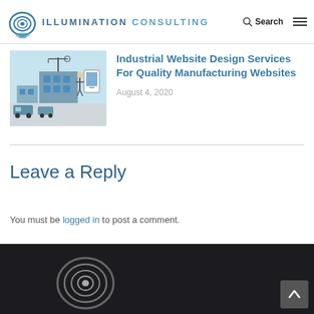Illumination Consulting — Search navigation
[Figure (illustration): Industrial website design illustration showing factory/manufacturing scene with blue tones]
Industrial Website Design Services For Quality Manufacturing Websites
August 4, 2020
Leave a Reply
You must be logged in to post a comment.
[Figure (logo): Illumination Consulting spiral logo in grayscale in footer dark area]